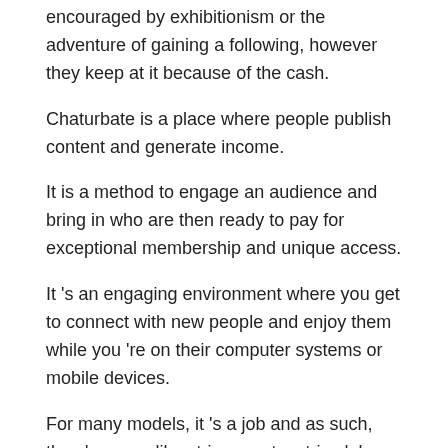encouraged by exhibitionism or the adventure of gaining a following, however they keep at it because of the cash.
Chaturbate is a place where people publish content and generate income.
It is a method to engage an audience and bring in who are then ready to pay for exceptional membership and unique access.
It 's an engaging environment where you get to connect with new people and enjoy them while you 're on their computer systems or mobile devices.
For many models, it 's a job and as such, they 're more like strippers at a strip club or designs in a shiny magazine who promote themselves in order to grow a fan base. How To Make Money On Chaturbate Tips
Just how much cash the models make as web cam performers can